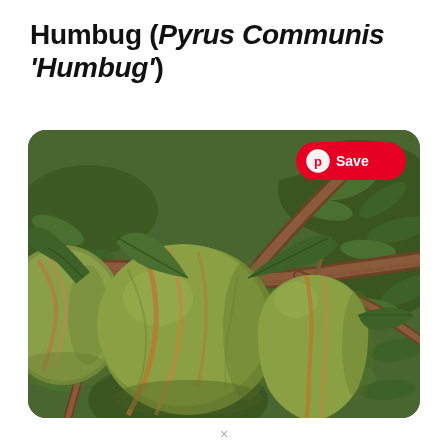Humbug (Pyrus Communis 'Humbug')
[Figure (photo): Close-up photograph of Humbug pear variety (Pyrus Communis 'Humbug') showing green pears with reddish-orange stripes hanging on a tree branch with dark green leaves. A red Pinterest 'Save' button is overlaid in the top-right corner of the image.]
×